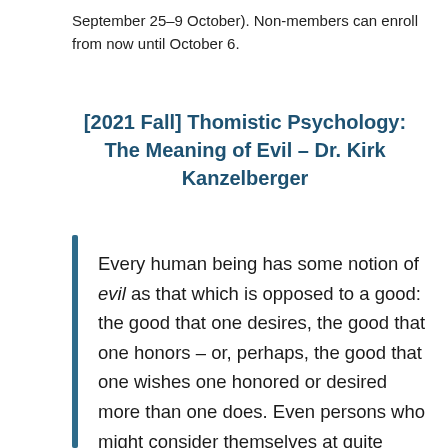September 25–9 October). Non-members can enroll from now until October 6.
[2021 Fall] Thomistic Psychology: The Meaning of Evil – Dr. Kirk Kanzelberger
Every human being has some notion of evil as that which is opposed to a good: the good that one desires, the good that one honors – or, perhaps, the good that one wishes one honored or desired more than one does. Even persons who might consider themselves at quite home with the official or trendy relativisms